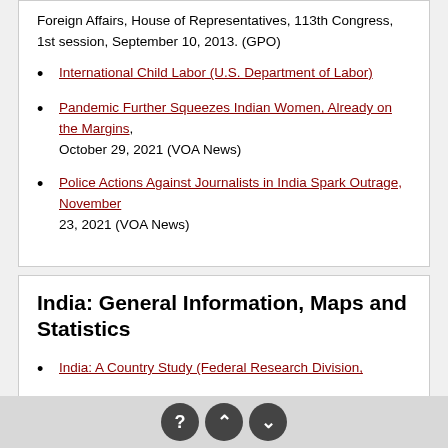Foreign Affairs, House of Representatives, 113th Congress, 1st session, September 10, 2013. (GPO)
International Child Labor (U.S. Department of Labor)
Pandemic Further Squeezes Indian Women, Already on the Margins, October 29, 2021 (VOA News)
Police Actions Against Journalists in India Spark Outrage, November 23, 2021 (VOA News)
India: General Information, Maps and Statistics
India: A Country Study (Federal Research Division,